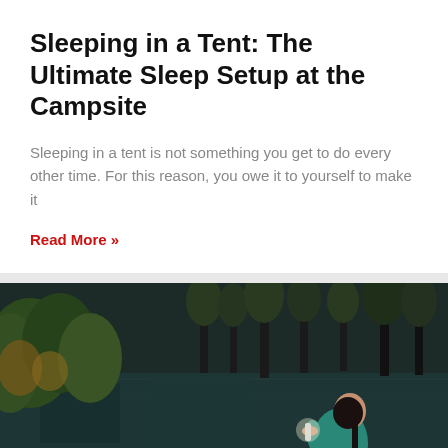Sleeping in a Tent: The Ultimate Sleep Setup at the Campsite
Sleeping in a tent is not something you get to do every other time. For this reason, you owe it to yourself to make it
Read More »
[Figure (photo): A woman in a teal jacket sitting by a dark lake in a forested area, holding a water filter or bottle, with a red bottle on the rocks beside her. A 'Back To Top' button overlays the bottom right corner.]